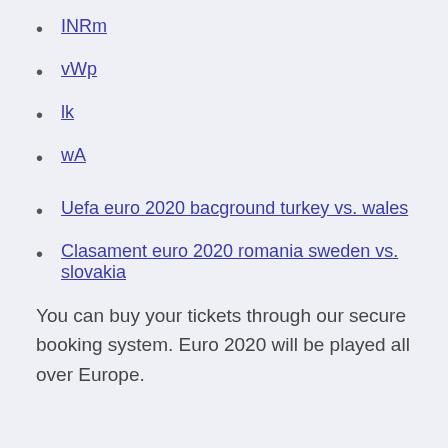INRm
vWp
lk
wA
Uefa euro 2020 bacground turkey vs. wales
Clasament euro 2020 romania sweden vs. slovakia
You can buy your tickets through our secure booking system. Euro 2020 will be played all over Europe.